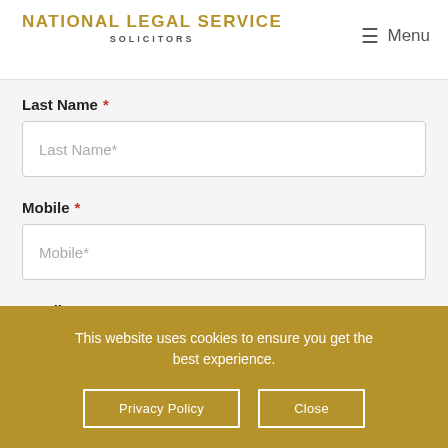National Legal Service Solicitors
Last Name *
Last Name*
Mobile *
Mobile*
Email *
Email Address*
This website uses cookies to ensure you get the best experience.